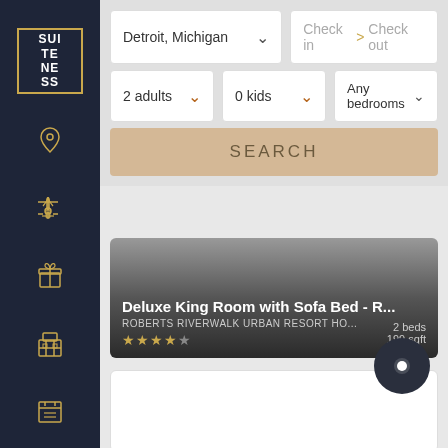[Figure (screenshot): Suiteness logo in top-left sidebar with gold border]
[Figure (screenshot): Sidebar navigation icons: location pin, filter/broadcast, gift, grid/building, list/calendar, person]
Detroit, Michigan
Check in  > Check out
2 adults
0 kids
Any bedrooms
SEARCH
Deluxe King Room with Sofa Bed - R...
ROBERTS RIVERWALK URBAN RESORT HO...
2 beds
199 sqft